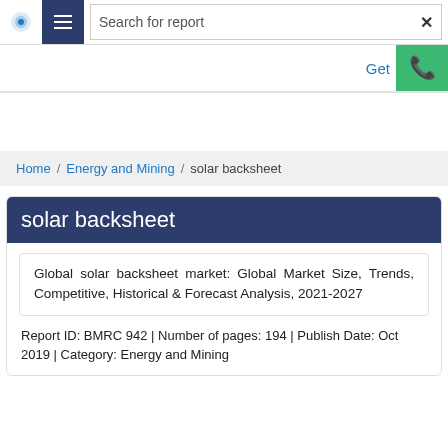Search for report
Home / Energy and Mining / solar backsheet
solar backsheet
Global solar backsheet market: Global Market Size, Trends, Competitive, Historical & Forecast Analysis, 2021-2027
Report ID: BMRC 942 | Number of pages: 194 | Publish Date: Oct 2019 | Category: Energy and Mining